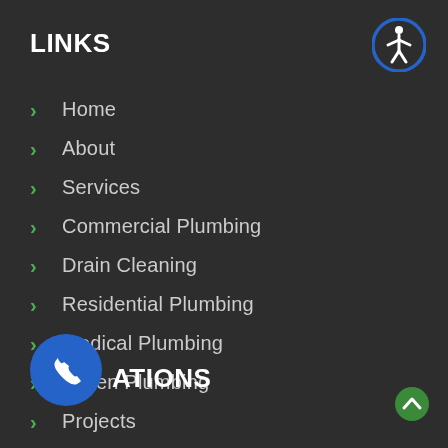LINKS
Home
About
Services
Commercial Plumbing
Drain Cleaning
Residential Plumbing
Medical Plumbing
Green Plumbing
Projects
Service Areas
Contact
[Figure (illustration): Blue circular accessibility icon with white person figure, top right corner]
[Figure (illustration): Blue circular call/phone button, bottom left]
ATIONS
[Figure (illustration): Green circular scroll-to-top arrow button, bottom right corner]